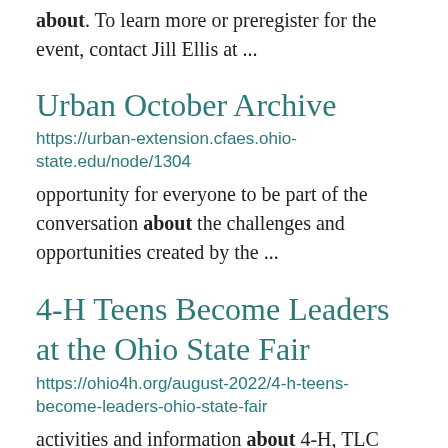platform. Samples you want to know more about. To learn more or preregister for the event, contact Jill Ellis at ...
Urban October Archive
https://urban-extension.cfaes.ohio-state.edu/node/1304
opportunity for everyone to be part of the conversation about the challenges and opportunities created by the ...
4-H Teens Become Leaders at the Ohio State Fair
https://ohio4h.org/august-2022/4-h-teens-become-leaders-ohio-state-fair
activities and information about 4-H, TLC